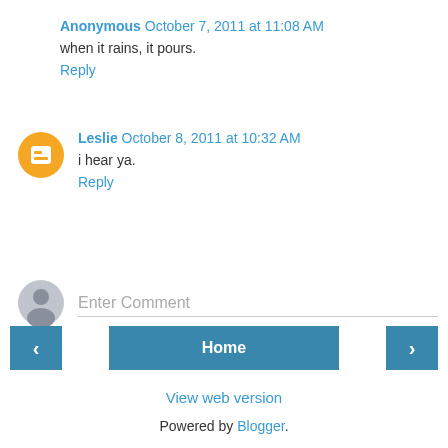Anonymous October 7, 2011 at 11:08 AM
when it rains, it pours.
Reply
Leslie October 8, 2011 at 10:32 AM
i hear ya.
Reply
Enter Comment
Home
View web version
Powered by Blogger.